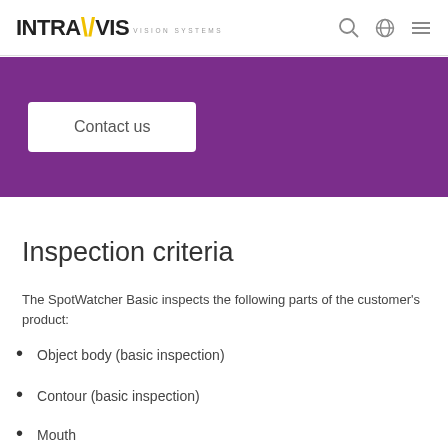INTRA\VIS VISION SYSTEMS
[Figure (screenshot): Purple banner with Contact us button]
Inspection criteria
The SpotWatcher Basic inspects the following parts of the customer's product:
Object body (basic inspection)
Contour (basic inspection)
Mouth